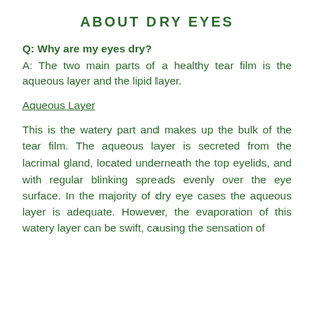ABOUT DRY EYES
Q: Why are my eyes dry?
A: The two main parts of a healthy tear film is the aqueous layer and the lipid layer.
Aqueous Layer
This is the watery part and makes up the bulk of the tear film. The aqueous layer is secreted from the lacrimal gland, located underneath the top eyelids, and with regular blinking spreads evenly over the eye surface. In the majority of dry eye cases the aqueous layer is adequate. However, the evaporation of this watery layer can be swift, causing the sensation of